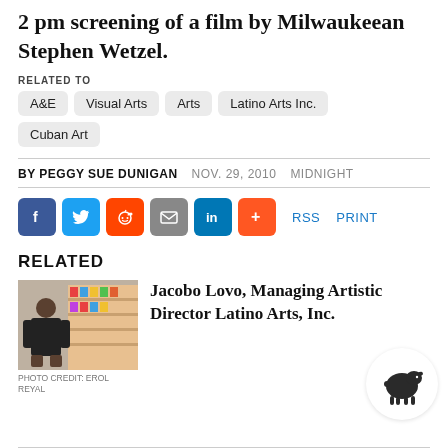2 pm screening of a film by Milwaukeean Stephen Wetzel.
RELATED TO
A&E
Visual Arts
Arts
Latino Arts Inc.
Cuban Art
BY PEGGY SUE DUNIGAN   NOV. 29, 2010   MIDNIGHT
[Figure (infographic): Social share buttons: Facebook, Twitter, Reddit, Email, LinkedIn, Plus. RSS and PRINT links.]
RELATED
[Figure (photo): Photo of Jacobo Lovo standing in front of a colorful display. Photo credit: EROL REYAL]
PHOTO CREDIT: EROL REYAL
Jacobo Lovo, Managing Artistic Director Latino Arts, Inc.